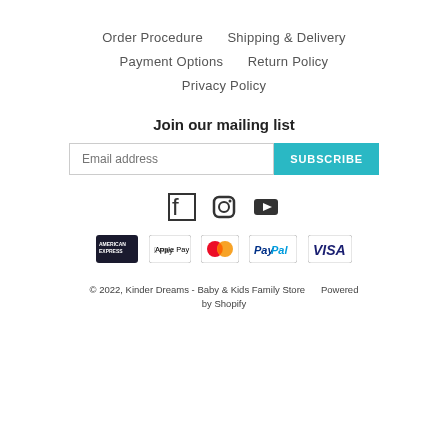Order Procedure
Shipping & Delivery
Payment Options
Return Policy
Privacy Policy
Join our mailing list
Email address  SUBSCRIBE
[Figure (other): Social media icons: Facebook, Instagram, YouTube]
[Figure (other): Payment method logos: American Express, Apple Pay, Mastercard, PayPal, Visa]
© 2022, Kinder Dreams - Baby & Kids Family Store    Powered by Shopify